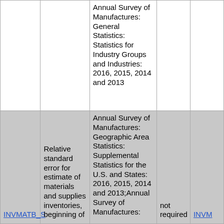|  |  | Source |  |  |
| --- | --- | --- | --- | --- |
|  |  | Annual Survey of Manufactures: General Statistics: Statistics for Industry Groups and Industries: 2016, 2015, 2014 and 2013 |  |  |
| INVMATB_S | Relative standard error for estimate of materials and supplies inventories, beginning of | Annual Survey of Manufactures: Geographic Area Statistics: Supplemental Statistics for the U.S. and States: 2016, 2015, 2014 and 2013;Annual Survey of Manufactures: | not required | INVM |